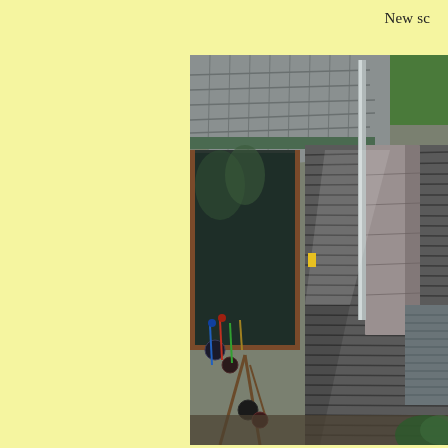New sc
[Figure (photo): Exterior view of a stone building with layered slate/stone walls, a slate roof, and a large glass door/window on the left. Display items including glass ornaments and decorative objects are visible in the foreground. A stone pillar and stone wall feature are visible on the right side with corrugated material. Green trees visible in background.]